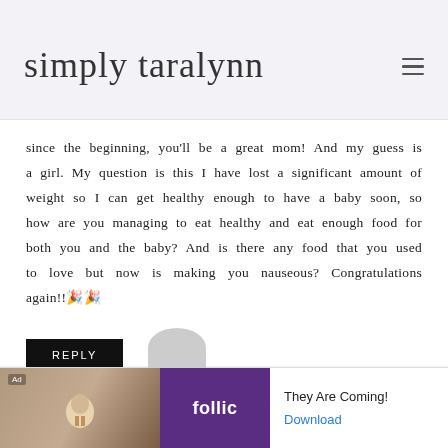simply taralynn
since the beginning, you'll be a great mom! And my guess is a girl. My question is this I have lost a significant amount of weight so I can get healthy enough to have a baby soon, so how are you managing to eat healthy and eat enough food for both you and the baby? And is there any food that you used to love but now is making you nauseous? Congratulations again!!🎉🎉
REPLY
[Figure (other): Advertisement banner for Follic game: Ad label, decorative game image, purple Follic logo block, text 'They Are Coming!' and 'Download' link]